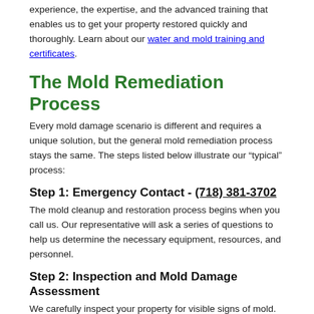experience, the expertise, and the advanced training that enables us to get your property restored quickly and thoroughly. Learn about our water and mold training and certificates.
The Mold Remediation Process
Every mold damage scenario is different and requires a unique solution, but the general mold remediation process stays the same. The steps listed below illustrate our “typical” process:
Step 1: Emergency Contact - (718) 381-3702
The mold cleanup and restoration process begins when you call us. Our representative will ask a series of questions to help us determine the necessary equipment, resources, and personnel.
Step 2: Inspection and Mold Damage Assessment
We carefully inspect your property for visible signs of mold. Mold feeds on cellulose and water and can be hidden from